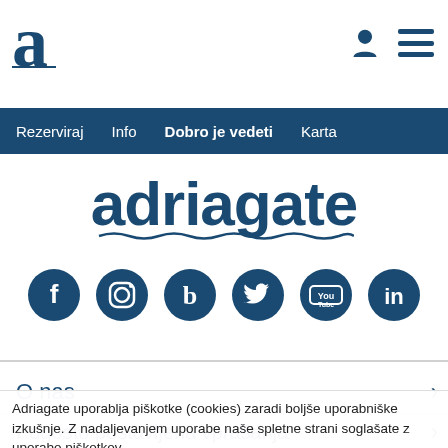adriagate logo and navigation
[Figure (logo): Stylized letter 'a' logo in dark blue with wavy underline, top-left of header]
[Figure (illustration): User icon (silhouette) and hamburger menu icon in top-right of header]
Rezerviraj   Info   Dobro je vedeti   Karta
adriagate
[Figure (illustration): Six circular social media icons: Facebook, Instagram, Blogger, Twitter, YouTube, LinkedIn — all dark navy blue]
O nas
Pogosto postavljena vprašanja
Adriagate uporablja piškotke (cookies) zaradi boljše uporabniške izkušnje. Z nadaljevanjem uporabe naše spletne strani soglašate z uporabo piškotkov. Več o piškotkih preverite na: Pravilnik o zasebnosti.